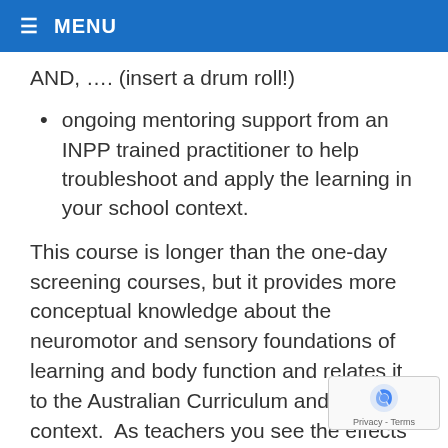≡ MENU
AND, …. (insert a drum roll!)
ongoing mentoring support from an INPP trained practitioner to help troubleshoot and apply the learning in your school context.
This course is longer than the one-day screening courses, but it provides more conceptual knowledge about the neuromotor and sensory foundations of learning and body function and relates it to the Australian Curriculum and teaching context.  As teache… you see the effects of NMI, this is how you l… to identify and help address it in your…